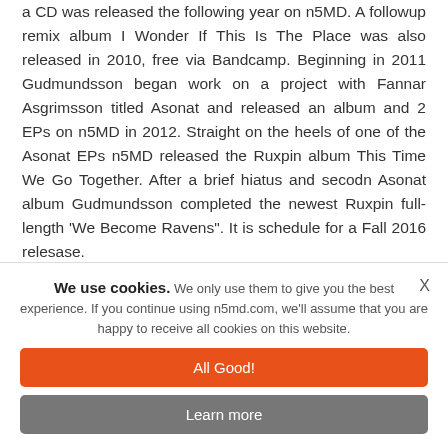a CD was released the following year on n5MD. A followup remix album I Wonder If This Is The Place was also released in 2010, free via Bandcamp. Beginning in 2011 Gudmundsson began work on a project with Fannar Asgrimsson titled Asonat and released an album and 2 EPs on n5MD in 2012. Straight on the heels of one of the Asonat EPs n5MD released the Ruxpin album This Time We Go Together. After a brief hiatus and secodn Asonat album Gudmundsson completed the newest Ruxpin full-length 'We Become Ravens". It is schedule for a Fall 2016 relesase.
TOP RELEASES FROM RUXPIN
We use cookies. We only use them to give you the best experience. If you continue using n5md.com, we'll assume that you are happy to receive all cookies on this website.